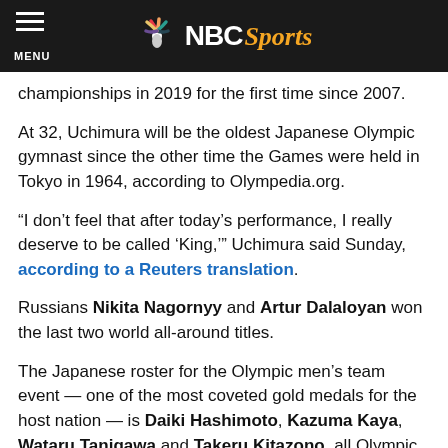NBC Sports
championships in 2019 for the first time since 2007.
At 32, Uchimura will be the oldest Japanese Olympic gymnast since the other time the Games were held in Tokyo in 1964, according to Olympedia.org.
“I don’t feel that after today’s performance, I really deserve to be called ‘King,’” Uchimura said Sunday, according to a Reuters translation.
Russians Nikita Nagornyy and Artur Dalaloyan won the last two world all-around titles.
The Japanese roster for the Olympic men’s team event — one of the most coveted gold medals for the host nation — is Daiki Hashimoto, Kazuma Kaya, Wataru Tanigawa and Takeru Kitazono, all Olympic rookies.
Japan took team bronze at the last two world